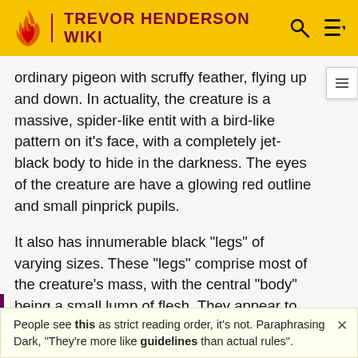TREVOR HENDERSON WIKI
ordinary pigeon with scruffy feather, flying up and down. In actuality, the creature is a massive, spider-like entity with a bird-like pattern on it's face, with a completely jet-black body to hide in the darkness. The eyes of the creature are have a glowing red outline and small pinprick pupils.
It also has innumerable black "legs" of varying sizes. These "legs" comprise most of the creature's mass, with the central "body" being a small lump of flesh. They appear to be quite shiny, likely due to some sort of fluid reflecting light off of it. Upon further inspection, the legs
People see this as strict reading order, it's not. Paraphrasing Dark, "They're more like guidelines than actual rules".